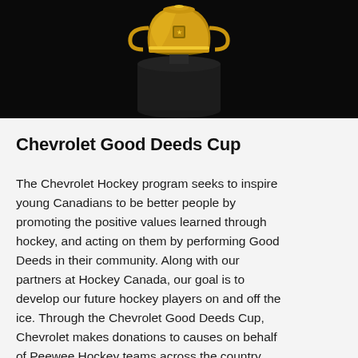[Figure (photo): A gold and black trophy cup on a dark pedestal against a black background, partially cropped at the top.]
Chevrolet Good Deeds Cup
The Chevrolet Hockey program seeks to inspire young Canadians to be better people by promoting the positive values learned through hockey, and acting on them by performing Good Deeds in their community. Along with our partners at Hockey Canada, our goal is to develop our future hockey players on and off the ice. Through the Chevrolet Good Deeds Cup, Chevrolet makes donations to causes on behalf of Peewee Hockey teams across the country. 2018/19 will mark the third year of the